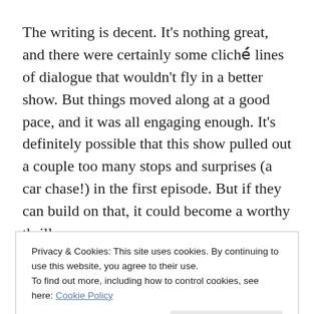The writing is decent. It's nothing great, and there were certainly some clichéd lines of dialogue that wouldn't fly in a better show. But things moved along at a good pace, and it was all engaging enough. It's definitely possible that this show pulled out a couple too many stops and surprises (a car chase!) in the first episode. But if they can build on that, it could become a worthy thriller.
It's also worth noting that this show has a surplus of handsome brunette dudes. One such dude is Zach Gilford. I am a diehard Friday
Privacy & Cookies: This site uses cookies. By continuing to use this website, you agree to their use.
To find out more, including how to control cookies, see here: Cookie Policy
Close and accept